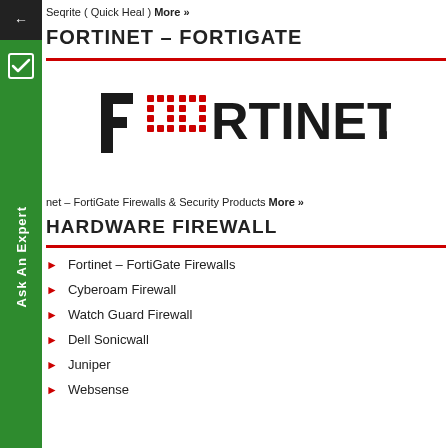Seqrite ( Quick Heal ) More »
FORTINET – FORTIGATE
[Figure (logo): Fortinet logo in bold black text with red dot-grid pattern forming letter O]
Fortinet – FortiGate Firewalls & Security Products More »
HARDWARE FIREWALL
Fortinet – FortiGate Firewalls
Cyberoam Firewall
Watch Guard Firewall
Dell Sonicwall
Juniper
Websense